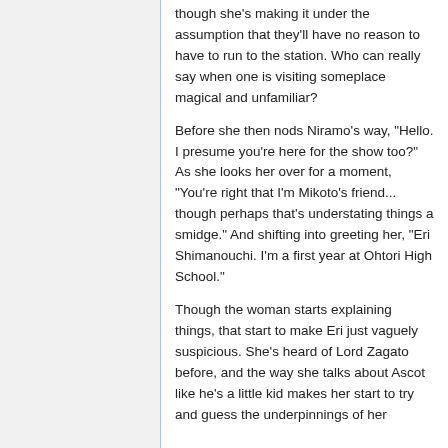though she's making it under the assumption that they'll have no reason to have to run to the station. Who can really say when one is visiting someplace magical and unfamiliar?
Before she then nods Niramo's way, "Hello. I presume you're here for the show too?" As she looks her over for a moment, "You're right that I'm Mikoto's friend... though perhaps that's understating things a smidge." And shifting into greeting her, "Eri Shimanouchi. I'm a first year at Ohtori High School."
Though the woman starts explaining things, that start to make Eri just vaguely suspicious. She's heard of Lord Zagato before, and the way she talks about Ascot like he's a little kid makes her start to try and guess the underpinnings of her